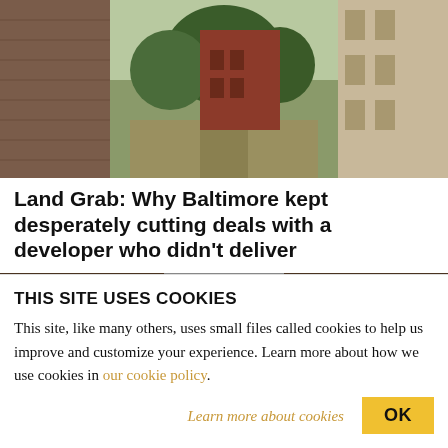[Figure (photo): Street view of a Baltimore neighborhood with brick rowhouses, trees lining a narrow road, and older urban buildings.]
Land Grab: Why Baltimore kept desperately cutting deals with a developer who didn’t deliver
[Figure (photo): Close-up photo of a gray-haired man, cropped at the forehead, looking slightly downward, against a dark brown background.]
THIS SITE USES COOKIES
This site, like many others, uses small files called cookies to help us improve and customize your experience. Learn more about how we use cookies in our cookie policy.
Learn more about cookies
OK